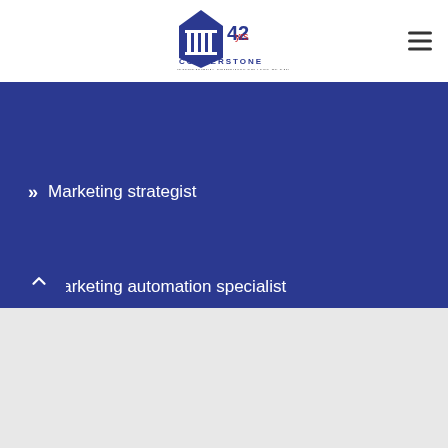[Figure (logo): Cornerstone International Community College of Canada logo with '42' text and building/pillar icon]
Marketing strategist
Marketing automation specialist
Content creator
SEO Specialist
How to improve digital marketing skills